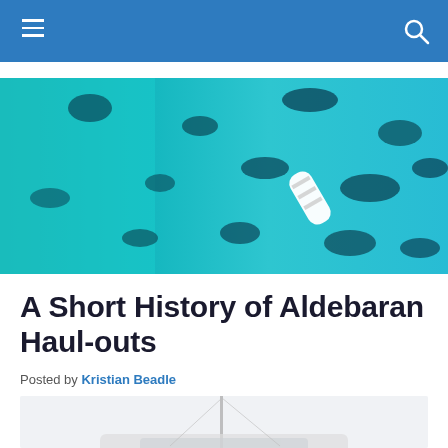Navigation bar with hamburger menu and search icon
[Figure (photo): Aerial view of turquoise water with dark reef patches and a white sailboat visible in the lower right portion of the image]
A Short History of Aldebaran Haul-outs
Posted by Kristian Beadle
[Figure (photo): Partial view of a sailboat mast against a pale overcast sky, boat hull partially visible at bottom]